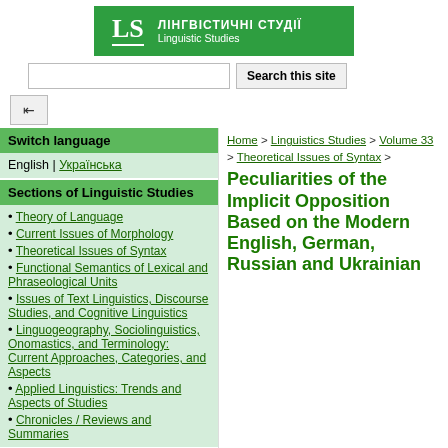ЛІНГВІСТИЧНІ СТУДІЇ / Linguistic Studies
Switch language
English | Українська
Sections of Linguistic Studies
Theory of Language
Current Issues of Morphology
Theoretical Issues of Syntax
Functional Semantics of Lexical and Phraseological Units
Issues of Text Linguistics, Discourse Studies, and Cognitive Linguistics
Linguogeography, Sociolinguistics, Onomastics, and Terminology: Current Approaches, Categories, and Aspects
Applied Linguistics: Trends and Aspects of Studies
Chronicles / Reviews and Summaries
About Collection
Home > Linguistics Studies > Volume 33 > Theoretical Issues of Syntax >
Peculiarities of the Implicit Opposition Based on the Modern English, German, Russian and Ukrainian